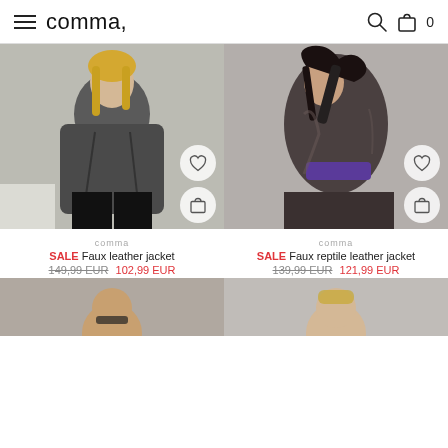comma, (with hamburger menu, search icon, bag icon, 0)
[Figure (photo): Female model wearing a dark grey faux leather jacket with black trousers, seated pose, with heart and bag icon overlays]
[Figure (photo): Female model wearing a dark faux reptile leather jacket with purple accent, dynamic pose, with heart and bag icon overlays]
comma
SALE Faux leather jacket
149,99 EUR 102,99 EUR
comma
SALE Faux reptile leather jacket
139,99 EUR 121,99 EUR
[Figure (photo): Partial view of a model, bottom of page, left product]
[Figure (photo): Partial view of a model, bottom of page, right product]